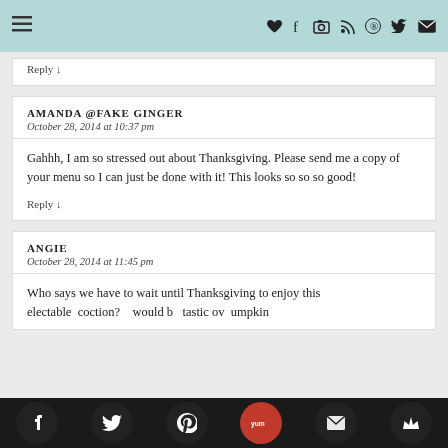≡  ♥ f ⊡ ⊐ ⊕ ✓ ✉
Reply ↓
AMANDA @FAKE GINGER
October 28, 2014 at 10:37 pm
Gahhh, I am so stressed out about Thanksgiving. Please send me a copy of your menu so I can just be done with it! This looks so so so good!
Reply ↓
ANGIE
October 28, 2014 at 11:45 pm
Who says we have to wait until Thanksgiving to enjoy this electable concoction? would be tastic ov umpkin